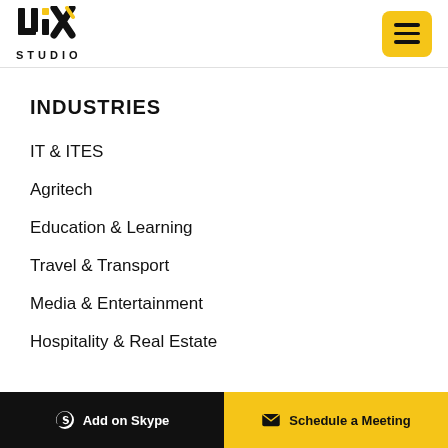[Figure (logo): UIX Studio logo with stylized 'uix' text and 'STUDIO' text below, plus yellow hamburger menu button in top right]
INDUSTRIES
IT & ITES
Agritech
Education & Learning
Travel & Transport
Media & Entertainment
Hospitality & Real Estate
Add on Skype   Schedule a Meeting